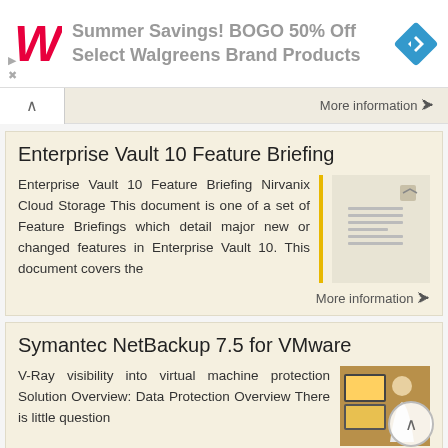[Figure (screenshot): Walgreens advertisement banner: red cursive W logo, text 'Summer Savings! BOGO 50% Off Select Walgreens Brand Products', blue diamond navigation icon]
More information →
Enterprise Vault 10 Feature Briefing
Enterprise Vault 10 Feature Briefing Nirvanix Cloud Storage This document is one of a set of Feature Briefings which detail major new or changed features in Enterprise Vault 10. This document covers the
More information →
Symantec NetBackup 7.5 for VMware
V-Ray visibility into virtual machine protection Solution Overview: Data Protection Overview There is little question